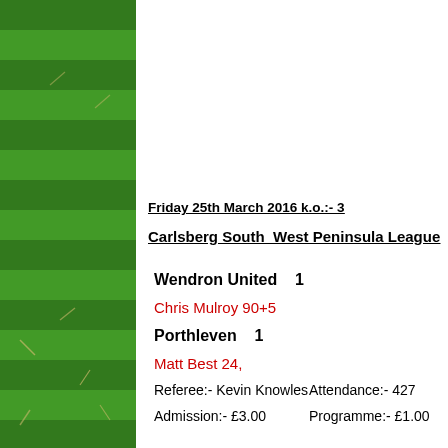[Figure (photo): Green grass/turf background strip on the left side of the page]
Friday 25th March 2016 k.o.:- 3
Carlsberg South West Peninsula League
Wendron United   1
Chris Mulroy 90+5
Porthleven   1
Matt Best 24,
Referee:- Kevin Knowles
Attendance:- 427
Admission:- £3.00
Programme:- £1.00